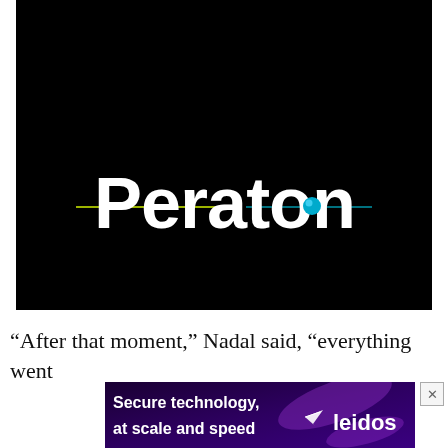[Figure (logo): Peraton company logo on black background. White bold text 'Peraton' with a horizontal line through the middle of the letters (yellow-green on left, cyan dot over the 'o', and yellow-green on right). The 'o' in Peraton has a teal/cyan circular dot/sphere element.]
“After that moment,” Nadal said, “everything went
[Figure (screenshot): Leidos advertisement banner: dark purple/blue background with light streaks. Text reads 'Secure technology, at scale and speed' in bold white/yellow. A paper airplane icon appears to the right, followed by the Leidos logo in white text.]